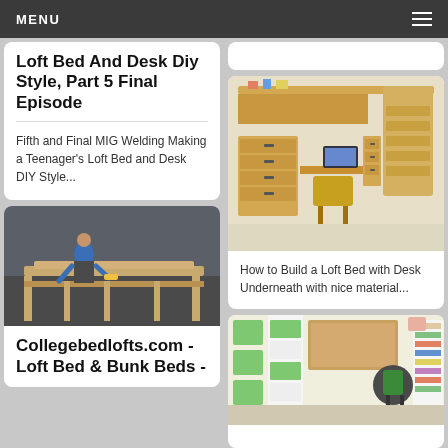MENU
Loft Bed And Desk Diy Style, Part 5 Final Episode
Fifth and Final MIG Welding Making a Teenager's Loft Bed and Desk DIY Style...
[Figure (photo): Woman working on wooden bed frame on floor]
Collegebedlofts.com - Loft Bed & Bunk Beds -
[Figure (photo): Wooden loft bed with desk underneath, drawers and stairs]
How to Build a Loft Bed with Desk Underneath with nice material...
[Figure (photo): Room with white and green loft bed unit with desk and bookshelves]